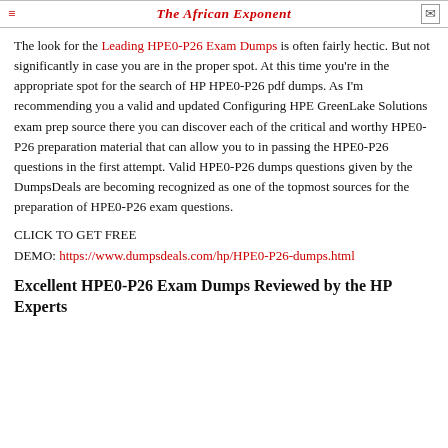The African Exponent
The look for the Leading HPE0-P26 Exam Dumps is often fairly hectic. But not significantly in case you are in the proper spot. At this time you're in the appropriate spot for the search of HP HPE0-P26 pdf dumps. As I'm recommending you a valid and updated Configuring HPE GreenLake Solutions exam prep source there you can discover each of the critical and worthy HPE0-P26 preparation material that can allow you to in passing the HPE0-P26 questions in the first attempt. Valid HPE0-P26 dumps questions given by the DumpsDeals are becoming recognized as one of the topmost sources for the preparation of HPE0-P26 exam questions.
CLICK TO GET FREE
DEMO: https://www.dumpsdeals.com/hp/HPE0-P26-dumps.html
Excellent HPE0-P26 Exam Dumps Reviewed by the HP Experts